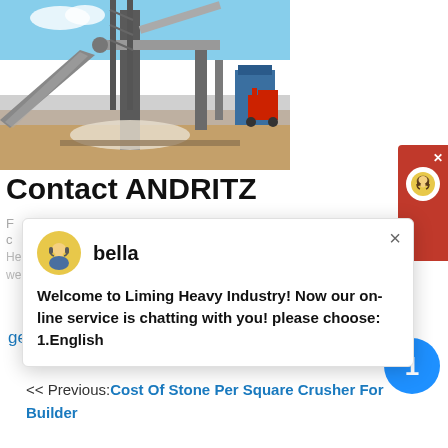[Figure (photo): Industrial plant machinery photo showing conveyor belts, metal structures, pipes and a red forklift in background with sandy ground and blue sky]
Contact ANDRITZ
Headquarters: Stattegger Strasse 18. 8045 Graz. +43 316 6902 0.
welcome@andritz. Your personal contact information.
[Figure (screenshot): Chat popup: bella avatar, message: Welcome to Liming Heavy Industry! Now our on-line service is chatting with you! please choose: 1.English]
get price
<< Previous: Cost Of Stone Per Square Crusher For Builder